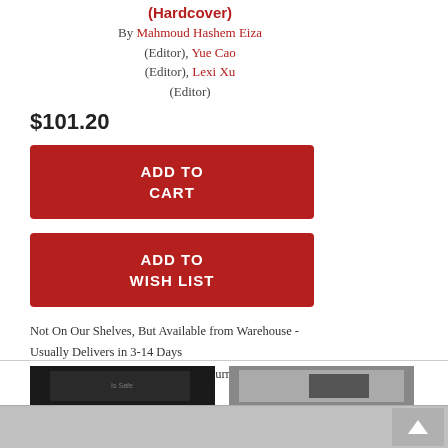(Hardcover)
By Mahmoud Hashem Eiza (Editor), Yue Cao (Editor), Lexi Xu (Editor)
$101.20
ADD TO CART
ADD TO WISH LIST
Not On Our Shelves, But Available from Warehouse - Usually Delivers in 3-14 Days
(Please note: This book cannot be returned.)
[Figure (photo): Thumbnail of a book cover on black background]
[Figure (photo): Thumbnail of a book cover with grey/silver tones]